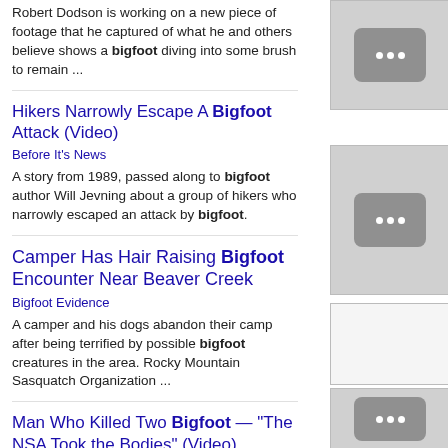Robert Dodson is working on a new piece of footage that he captured of what he and others believe shows a bigfoot diving into some brush to remain ...
Hikers Narrowly Escape A Bigfoot Attack (Video)
Before It's News
A story from 1989, passed along to bigfoot author Will Jevning about a group of hikers who narrowly escaped an attack by bigfoot.
Camper Has Hair Raising Bigfoot Encounter Near Beaver Creek
Bigfoot Evidence
A camper and his dogs abandon their camp after being terrified by possible bigfoot creatures in the area. Rocky Mountain Sasquatch Organization ...
Man Who Killed Two Bigfoot — "The NSA Took the Bodies" (Video)
Before It's News
If you follow the bigfoot world, most of you have heard the story of "Bugs" a Texas man who claims to have shot